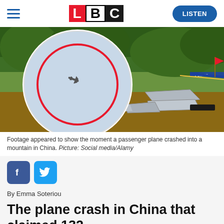LBC — LISTEN
[Figure (photo): Crash scene photo showing plane debris and police tape on grass/dirt, with a circular inset showing a plane in the sky just before crash]
Footage appeared to show the moment a passenger plane crashed into a mountain in China. Picture: Social media/Alamy
[Figure (other): Facebook and Twitter social share buttons]
By Emma Soteriou
The plane crash in China that claimed 132